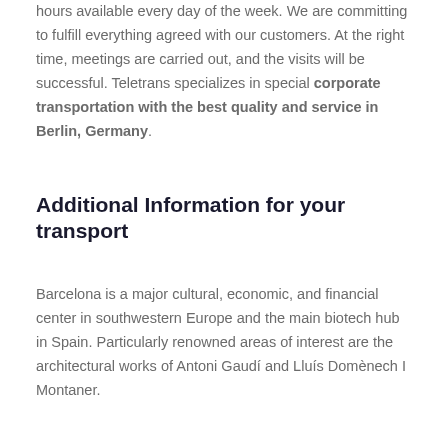hours available every day of the week. We are committing to fulfill everything agreed with our customers. At the right time, meetings are carried out, and the visits will be successful. Teletrans specializes in special corporate transportation with the best quality and service in Berlin, Germany.
Additional Information for your transport
Barcelona is a major cultural, economic, and financial center in southwestern Europe and the main biotech hub in Spain. Particularly renowned areas of interest are the architectural works of Antoni Gaudí and Lluís Domènech I Montaner.